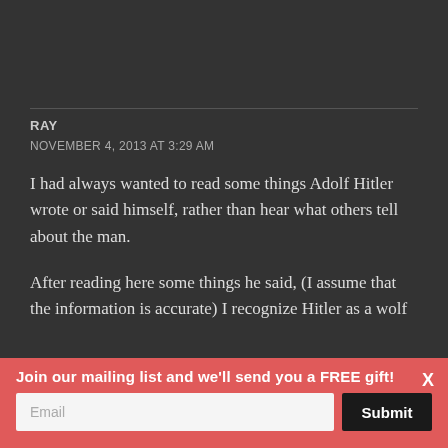RAY
NOVEMBER 4, 2013 AT 3:29 AM
I had always wanted to read some things Adolf Hitler wrote or said himself, rather than hear what others tell about the man.
After reading here some things he said, (I assume that the information is accurate) I recognize Hitler as a wolf
Join our mailing list and we'll send you a FREE gift!
Email
Submit
X